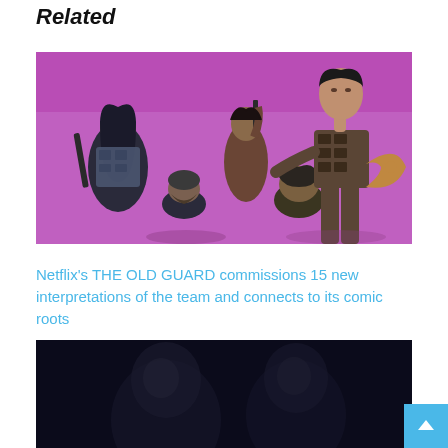Related
[Figure (illustration): Comic book style illustration showing a group of armed characters (The Old Guard team) on a purple/magenta background. A tall dark-haired woman in tactical vest holds a weapon in the center-right, while other characters including one with a gun, one crouching, and one with a beard are visible.]
Netflix's THE OLD GUARD commissions 15 new interpretations of the team and connects to its comic roots
[Figure (photo): Dark, moody photo showing shadowy figures in low light, appears to be a still from The Old Guard Netflix film.]